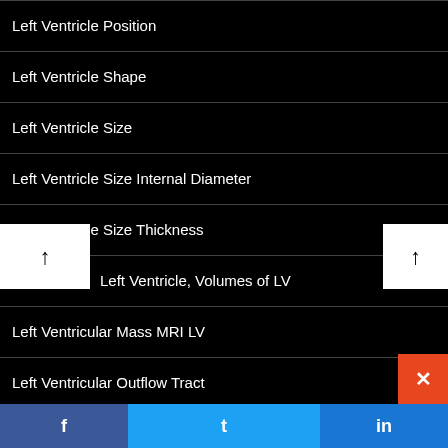Left Ventricle Position
Left Ventricle Shape
Left Ventricle Size
Left Ventricle Size Internal Diameter
Left Ventricle Size Thickness
Left Ventricle, Volumes of LV
Left Ventricular Mass MRI LV
Left Ventricular Outflow Tract
LGE – Normal Variants- Vessels
LGE Hinge Point
LGE Mid Myocardial Inferolateral
f  t  in